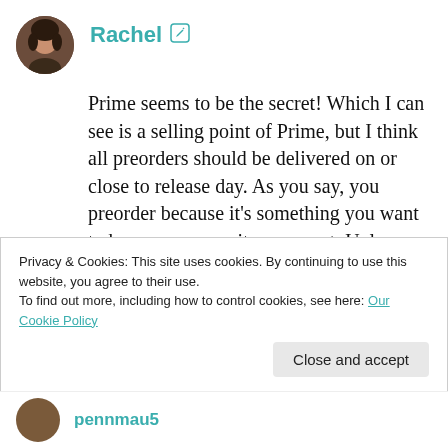[Figure (photo): Circular avatar photo of a woman with dark hair]
Rachel ✎
Prime seems to be the secret! Which I can see is a selling point of Prime, but I think all preorders should be delivered on or close to release day. As you say, you preorder because it's something you want to have as soon as it comes out. Unless preordering a signed item, or a book that comes with preorder freebies, I don't understand the delay – why would we bother preordering if it's quicker to call into a physical bookstore?
Privacy & Cookies: This site uses cookies. By continuing to use this website, you agree to their use.
To find out more, including how to control cookies, see here: Our Cookie Policy
Close and accept
[Figure (photo): Circular avatar photo of another user]
pennmau5